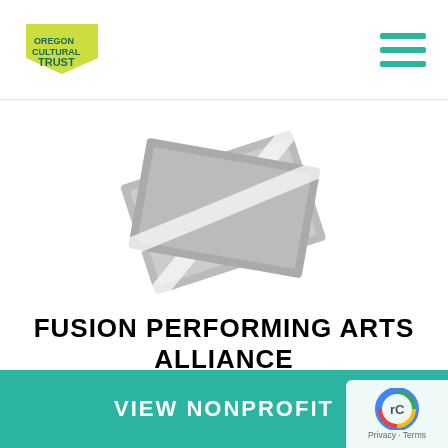Oregon Cultural Trust (logo) — hamburger menu
[Figure (illustration): Gray stacked photograph/ticket card icon, tilted at angles, centered in the upper portion of the page]
FUSION PERFORMING ARTS ALLIANCE
Our mission is to provide expert, innovative and personal instruction to children and young adults in dance and theatrical arts while providing a caring, safe and supportive environment...
VIEW NONPROFIT